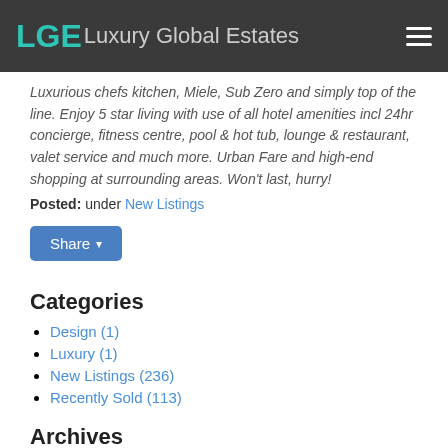LGE Luxury Global Estates
Luxurious chefs kitchen, Miele, Sub Zero and simply top of the line. Enjoy 5 star living with use of all hotel amenities incl 24hr concierge, fitness centre, pool & hot tub, lounge & restaurant, valet service and much more. Urban Fare and high-end shopping at surrounding areas. Won't last, hurry!
Posted: under New Listings
[Figure (other): Share button with dropdown arrow]
Categories
Design (1)
Luxury (1)
New Listings (236)
Recently Sold (113)
Archives
June 2022 (1)
May 2022 (3)